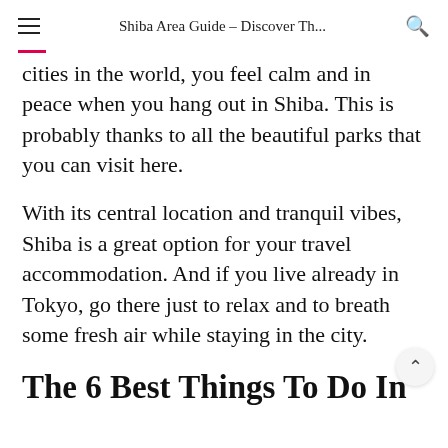Shiba Area Guide – Discover Th...
cities in the world, you feel calm and in peace when you hang out in Shiba. This is probably thanks to all the beautiful parks that you can visit here.
With its central location and tranquil vibes, Shiba is a great option for your travel accommodation. And if you live already in Tokyo, go there just to relax and to breath some fresh air while staying in the city.
The 6 Best Things To Do In